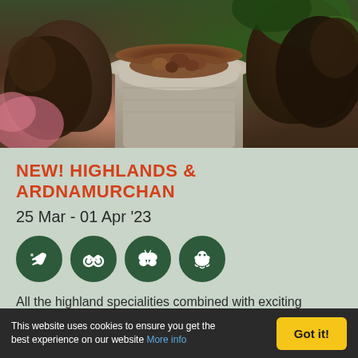[Figure (photo): Two dark otters or mink on a weathered wooden stump covered with nuts/berries, surrounded by pink flowers and green foliage]
NEW! HIGHLANDS & ARDNAMURCHAN
25 Mar - 01 Apr '23
[Figure (infographic): Four circular dark green icons: bird (wildlife), binoculars (birdwatching), butterfly (insects), otter/mammal (mammals)]
All the highland specialities combined with exciting mammals on the west coast
Prices from £1645 pp
This website uses cookies to ensure you get the best experience on our website More info